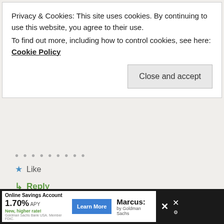Privacy & Cookies: This site uses cookies. By continuing to use this website, you agree to their use.
To find out more, including how to control cookies, see here: Cookie Policy
Close and accept
★ Like
↳ Reply
JAMES
September 10, 2021 at 8:31 pm
I'll hold my bitcoin forever, because when the time is right… I won't have to sell.
Online Savings Account
1.70% APY New, higher rate!
Goldman Sachs Bank USA. Member FDIC.
Learn More
Marcus: by Goldman Sachs